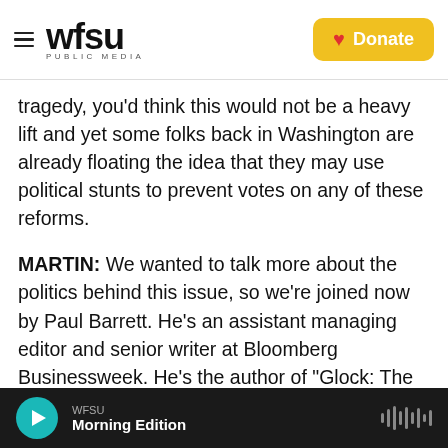WFSU Public Media | Donate
tragedy, you'd think this would not be a heavy lift and yet some folks back in Washington are already floating the idea that they may use political stunts to prevent votes on any of these reforms.
MARTIN: We wanted to talk more about the politics behind this issue, so we're joined now by Paul Barrett. He's an assistant managing editor and senior writer at Bloomberg Businessweek. He's the author of "Glock: The Rise of America's Gun," and he's been following this kind of legislation for years.
Paul, welcome back to the program. Thanks for
WFSU Morning Edition